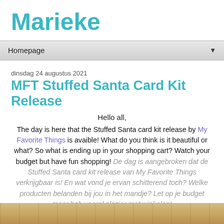Marieke
Homepage
dinsdag 24 augustus 2021
MFT Stuffed Santa Card Kit Release
Hello all,
The day is here that the Stuffed Santa card kit release by My Favorite Things is avaible! What do you think is it beautiful or what? So what is ending up in your shopping cart? Watch your budget but have fun shopping! De dag is aangebroken dat de Stuffed Santa card kit release van My Favorite Things verkrijgbaar is! En wat vond je ervan schitterend toch? Welke producten belanden bij jou in het mandje? Let op je budget maar heb vooral plezier met winkelen!
[Figure (photo): Partial view of a wooden surface with warm brown tones, bottom of page]